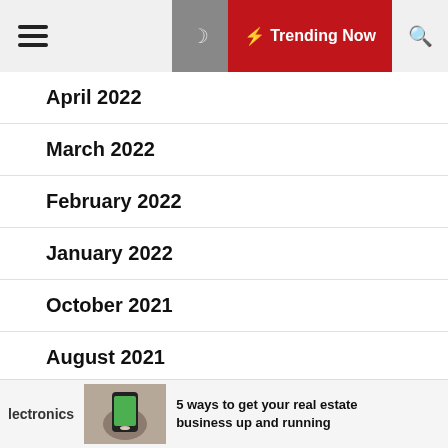Trending Now
April 2022
March 2022
February 2022
January 2022
October 2021
August 2021
July 2021
lectronics — 5 ways to get your real estate business up and running